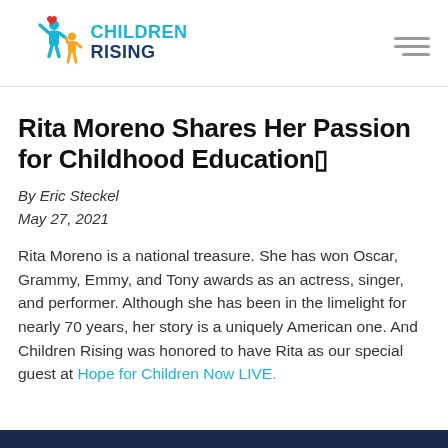Children Rising
Rita Moreno Shares Her Passion for Childhood Education
By Eric Steckel
May 27, 2021
Rita Moreno is a national treasure. She has won Oscar, Grammy, Emmy, and Tony awards as an actress, singer, and performer. Although she has been in the limelight for nearly 70 years, her story is a uniquely American one. And Children Rising was honored to have Rita as our special guest at Hope for Children Now LIVE.